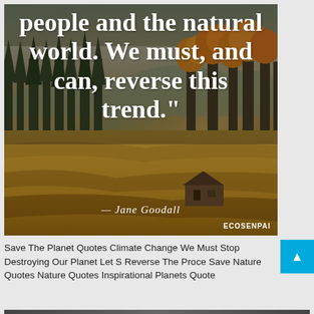[Figure (photo): A nature landscape photo with autumn forest and mountains in foggy background, a meadow with a small wooden cabin, overlaid with a large white serif bold quote text reading 'people and the natural world. We must, and can, reverse this trend.' with attribution '— Jane Goodall' and watermark 'ECOSENPAI']
Save The Planet Quotes Climate Change We Must Stop Destroying Our Planet Let S Reverse The Proce Save Nature Quotes Nature Quotes Inspirational Planets Quote